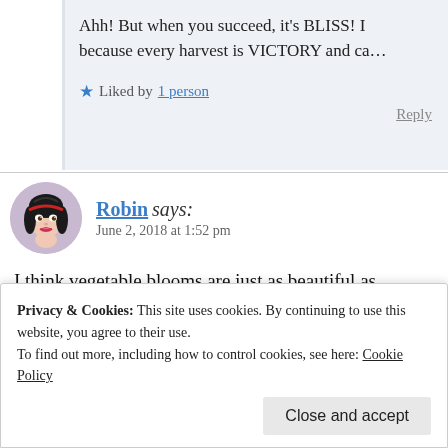Ahh! But when you succeed, it's BLISS! because every harvest is VICTORY and ca…
Liked by 1 person
Reply
Robin says:
June 2, 2018 at 1:52 pm
I think vegetable blooms are just as beautiful as flower…
Like
Reply
Privacy & Cookies: This site uses cookies. By continuing to use this website, you agree to their use.
To find out more, including how to control cookies, see here: Cookie Policy
Close and accept